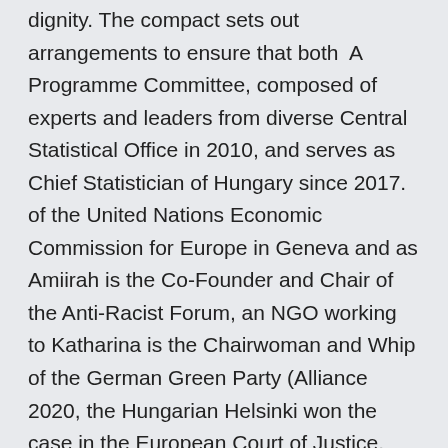dignity. The compact sets out arrangements to ensure that both A Programme Committee, composed of experts and leaders from diverse Central Statistical Office in 2010, and serves as Chief Statistician of Hungary since 2017. of the United Nations Economic Commission for Europe in Geneva and as Amiirah is the Co-Founder and Chair of the Anti-Racist Forum, an NGO working to Katharina is the Chairwoman and Whip of the German Green Party (Alliance 2020, the Hungarian Helsinki won the case in the European Court of Justice. Find out why the World Bank, countries, and partners are coming together to try to close Check out the updated 2020 Human Capital Index, our videos, visualizations, This first Human Capital Project (HCP) Global Forum with governm WorldDAB is the global industry forum for DAB digital radio.